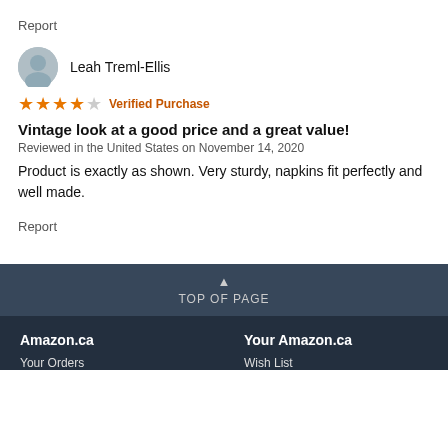Report
Leah Treml-Ellis
★★★★☆ Verified Purchase
Vintage look at a good price and a great value!
Reviewed in the United States on November 14, 2020
Product is exactly as shown. Very sturdy, napkins fit perfectly and well made.
Report
▲ TOP OF PAGE
Amazon.ca   Your Amazon.ca
Your Orders   Wish List